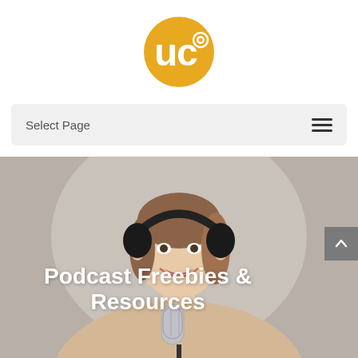[Figure (logo): Circular yellow/orange logo with letters 'uc' in white and a small camera/lens icon]
Select Page
[Figure (photo): A smiling young woman wearing over-ear headphones and a beige sweater, speaking into a microphone in a podcast studio setting]
Podcast Freebies & Resources